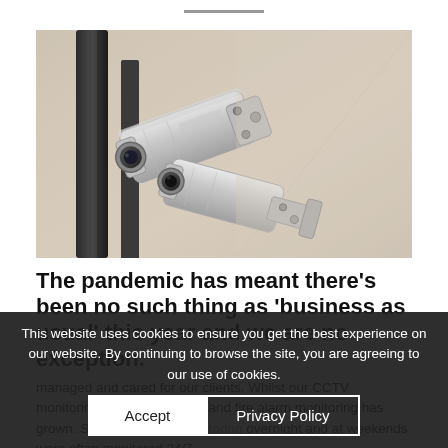[Figure (photo): Close-up photograph of white CCTV security cameras mounted on a wall/pole, shot from below at an angle. Two cameras are visible, one pointing toward the viewer.]
The pandemic has meant there's been no such thing as 'business as usual' this year and we are no exception.
... managed and cared for our clients. Whilst our CCTV monitoring se... ider and fire alarm monitoring has grown. Si... diti... ring... ored overnight and at weekends were often monitored 24/7
This website uses cookies to ensure you get the best experience on our website. By continuing to browse the site, you are agreeing to our use of cookies.